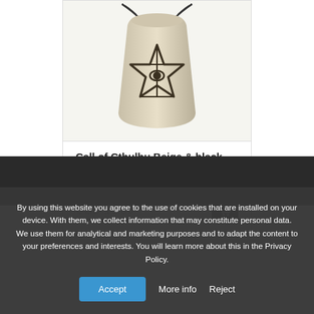[Figure (photo): Call of Cthulhu beige and black drawstring dice bag with a star/eye symbol on the front]
Call of Cthulhu Beige & black Dice Bag
up to 50 dice
USD 10.00
By using this website you agree to the use of cookies that are installed on your device. With them, we collect information that may constitute personal data. We use them for analytical and marketing purposes and to adapt the content to your preferences and interests. You will learn more about this in the Privacy Policy.
Accept
More info
Reject